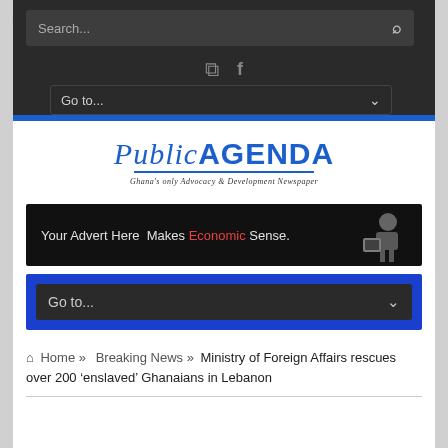[Figure (screenshot): Search bar with placeholder text 'Search...' and a magnifying glass icon on dark background]
[Figure (screenshot): RSS and Facebook social icons in gray on dark background]
[Figure (screenshot): Navigation dropdown 'Go to...' with chevron on dark background]
[Figure (logo): Public Agenda newspaper logo - 'Public' in blue italic serif and 'AGENDA' in bold blue sans-serif, tagline: Ghana's only Advocacy & Development Newspaper]
[Figure (screenshot): Advertisement banner: 'Your Advert Here Makes Economic Sense.' with man reading tablet on dark background]
[Figure (screenshot): Navigation dropdown 'Go to...' with chevron on blue background container]
Home » Breaking News » Ministry of Foreign Affairs rescues over 200 'enslaved' Ghanaians in Lebanon